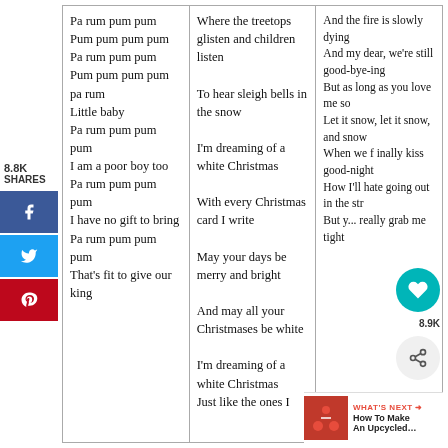Pa rum pum pum
Pum pum pum pum
Pa rum pum pum
Pum pum pum pum
pa rum
Little baby
Pa rum pum pum
pum
I am a poor boy too
Pa rum pum pum
pum
I have no gift to bring
Pa rum pum pum
pum
That's fit to give our king
Where the treetops glisten and children listen
To hear sleigh bells in the snow
I'm dreaming of a white Christmas
With every Christmas card I write
May your days be merry and bright
And may all your Christmases be white
I'm dreaming of a white Christmas
Just like the ones I
And the fire is slowly dying
And my dear, we're still good-bye-ing
But as long as you love me so
Let it snow, let it snow, and snow
When we finally kiss good-night
How I'll hate going out in the str
But y... really grab me tight